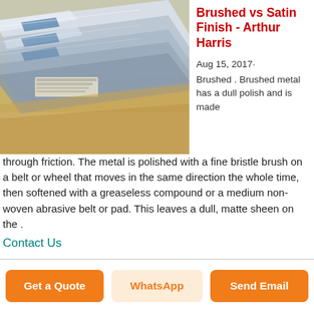[Figure (photo): Photo of stacked brushed aluminum or galvanized metal sheets in packaging with a shiny metallic surface]
Brushed vs Satin Finish - Arthur Harris
Aug 15, 2017· Brushed . Brushed metal has a dull polish and is made through friction. The metal is polished with a fine bristle brush on a belt or wheel that moves in the same direction the whole time, then softened with a greaseless compound or a medium non-woven abrasive belt or pad. This leaves a dull, matte sheen on the .
Contact Us